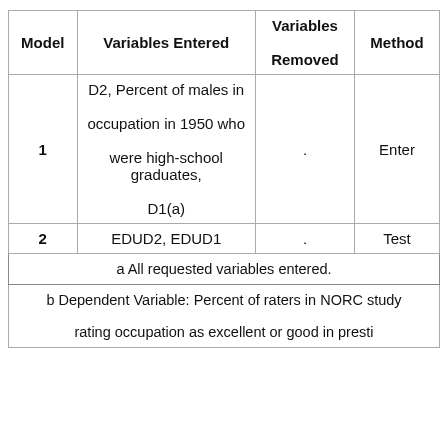| Model | Variables Entered | Variables Removed | Method |
| --- | --- | --- | --- |
| 1 | D2, Percent of males in occupation in 1950 who were high-school graduates, D1(a) | . | Enter |
| 2 | EDUD2, EDUD1 | . | Test |